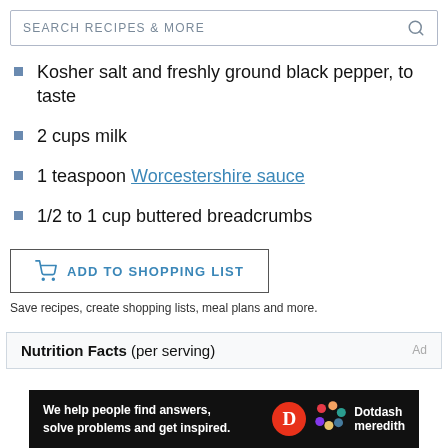SEARCH RECIPES & MORE
Kosher salt and freshly ground black pepper, to taste
2 cups milk
1 teaspoon Worcestershire sauce
1/2 to 1 cup buttered breadcrumbs
ADD TO SHOPPING LIST
Save recipes, create shopping lists, meal plans and more.
Nutrition Facts (per serving)
We help people find answers, solve problems and get inspired. Dotdash meredith